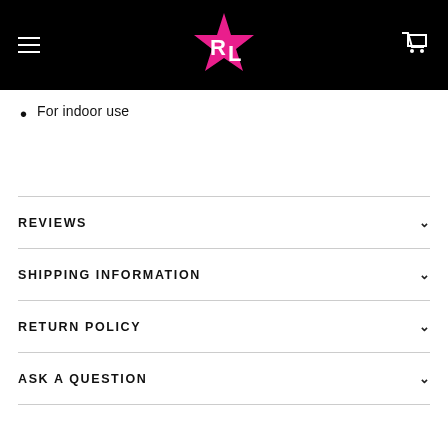[Figure (logo): Rockabilia logo — pink star with white RL letters — on black navigation bar with hamburger menu left and cart icon right]
For indoor use
REVIEWS
SHIPPING INFORMATION
RETURN POLICY
ASK A QUESTION